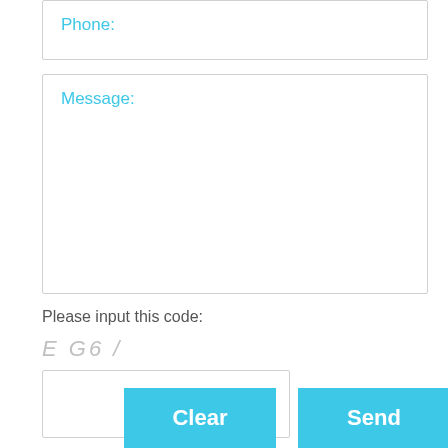Phone:
Message:
Please input this code:
E G6 /
Clear
Send